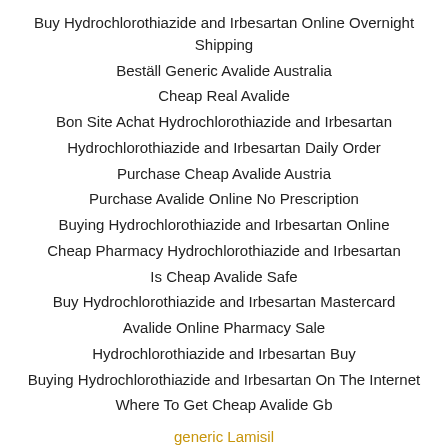Buy Hydrochlorothiazide and Irbesartan Online Overnight Shipping
Beställ Generic Avalide Australia
Cheap Real Avalide
Bon Site Achat Hydrochlorothiazide and Irbesartan
Hydrochlorothiazide and Irbesartan Daily Order
Purchase Cheap Avalide Austria
Purchase Avalide Online No Prescription
Buying Hydrochlorothiazide and Irbesartan Online
Cheap Pharmacy Hydrochlorothiazide and Irbesartan
Is Cheap Avalide Safe
Buy Hydrochlorothiazide and Irbesartan Mastercard
Avalide Online Pharmacy Sale
Hydrochlorothiazide and Irbesartan Buy
Buying Hydrochlorothiazide and Irbesartan On The Internet
Where To Get Cheap Avalide Gb
generic Lamisil